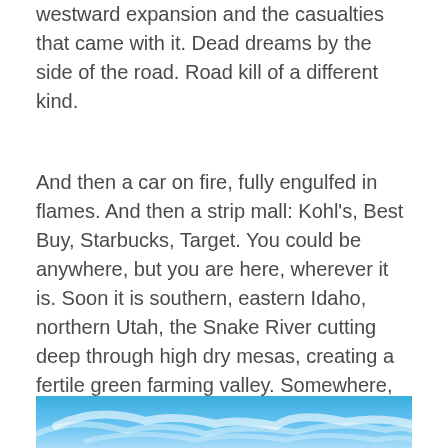westward expansion and the casualties that came with it. Dead dreams by the side of the road. Road kill of a different kind.
And then a car on fire, fully engulfed in flames. And then a strip mall: Kohl's, Best Buy, Starbucks, Target. You could be anywhere, but you are here, wherever it is. Soon it is southern, eastern Idaho, northern Utah, the Snake River cutting deep through high dry mesas, creating a fertile green farming valley. Somewhere, the rock is volcanic, black and sharp, and then everything is red, rust-colored. Out 80, into the mountains, the snow fences begin, lined up and waiting for the weather to come like a farm of solar panels waiting for the sun.
[Figure (photo): Blue sky with wispy white clouds, partially visible at the bottom of the page.]